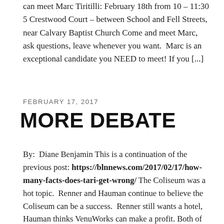can meet Marc Tiritilli: February 18th from 10 – 11:30 5 Crestwood Court – between School and Fell Streets, near Calvary Baptist Church Come and meet Marc, ask questions, leave whenever you want.  Marc is an exceptional candidate you NEED to meet! If you [...]
FEBRUARY 17, 2017
MORE DEBATE
By:  Diane Benjamin This is a continuation of the previous post: https://blnnews.com/2017/02/17/how-many-facts-does-tari-get-wrong/ The Coliseum was a hot topic.  Renner and Hauman continue to believe the Coliseum can be a success.  Renner still wants a hotel, Hauman thinks VenuWorks can make a profit. Both of them are living in the same make-believe land as whoever projected [...]